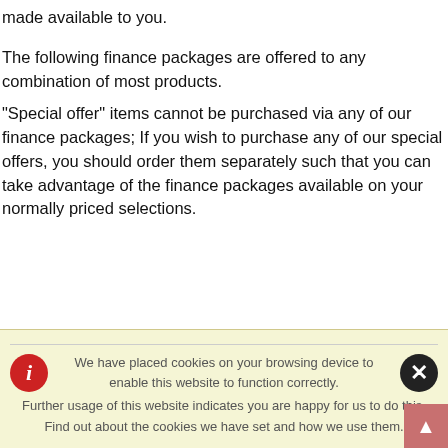made available to you.
The following finance packages are offered to any combination of most products.
"Special offer" items cannot be purchased via any of our finance packages; If you wish to purchase any of our special offers, you should order them separately such that you can take advantage of the finance packages available on your normally priced selections.
We have placed cookies on your browsing device to enable this website to function correctly.
Further usage of this website indicates you are happy for us to do this.
Find out about the cookies we have set and how we use them.